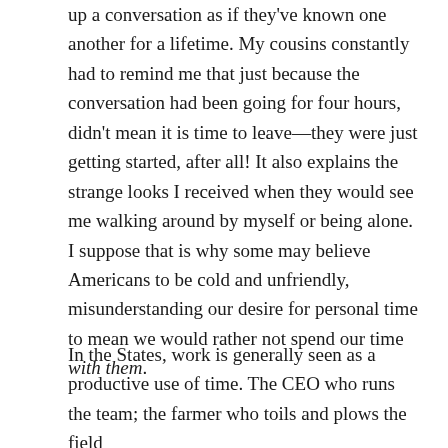up a conversation as if they've known one another for a lifetime. My cousins constantly had to remind me that just because the conversation had been going for four hours, didn't mean it is time to leave—they were just getting started, after all! It also explains the strange looks I received when they would see me walking around by myself or being alone. I suppose that is why some may believe Americans to be cold and unfriendly, misunderstanding our desire for personal time to mean we would rather not spend our time with them.
In the States, work is generally seen as a productive use of time. The CEO who runs the team; the farmer who toils and plows the field